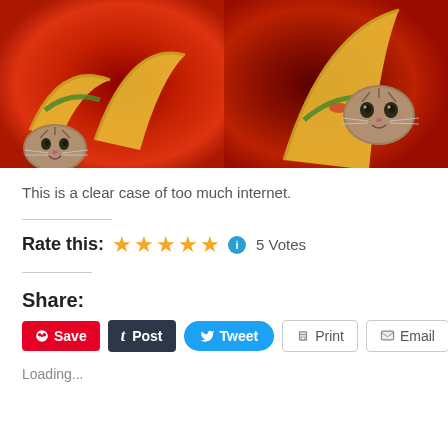[Figure (photo): Two product images side by side showing items with taco and cat design on a red background]
This is a clear case of too much internet.
Rate this: ★★★★★ ℹ 5 Votes
Share:
Save  t Post  Tweet  Print  Email
Loading...